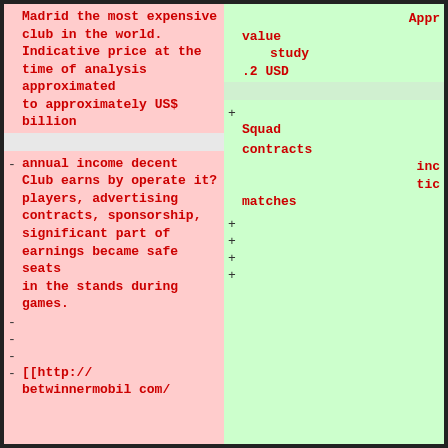- Madrid the most expensive club in the world. Indicative price at the time of analysis approximated to approximately US$ .2 billion USD
+ Appr value study .2 USD
- annual income decent Club earns by operate it? players, advertising contracts, sponsorship, significant part of earnings became safe seats in the stands during games.
+ Squad contracts inc tic matches
- [[http:// betwinnermobil com/
+ (blank lines)